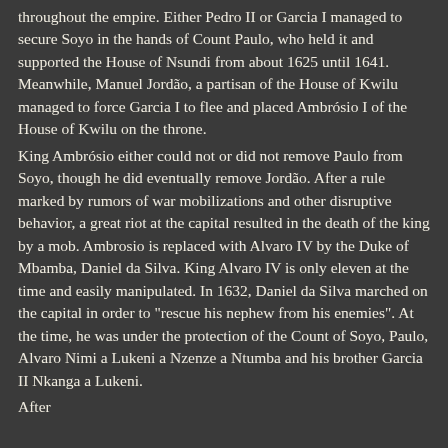throughout the empire. Either Pedro II or Garcia I managed to secure Soyo in the hands of Count Paulo, who held it and supported the House of Nsundi from about 1625 until 1641. Meanwhile, Manuel Jordão, a partisan of the House of Kwilu managed to force Garcia I to flee and placed Ambrósio I of the House of Kwilu on the throne. King Ambrósio either could not or did not remove Paulo from Soyo, though he did eventually remove Jordão. After a rule marked by rumors of war mobilizations and other disruptive behavior, a great riot at the capital resulted in the death of the king by a mob. Ambrosio is replaced with Alvaro IV by the Duke of Mbamba, Daniel da Silva. King Alvaro IV is only eleven at the time and easily manipulated. In 1632, Daniel da Silva marched on the capital in order to "rescue his nephew from his enemies". At the time, he was under the protection of the Count of Soyo, Paulo, Alvaro Nimi a Lukeni a Nzenze a Ntumba and his brother Garcia II Nkanga a Lukeni. After...